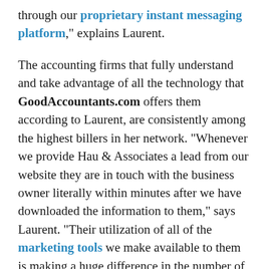through our proprietary instant messaging platform," explains Laurent.
The accounting firms that fully understand and take advantage of all the technology that GoodAccountants.com offers them according to Laurent, are consistently among the highest billers in her network. "Whenever we provide Hau & Associates a lead from our website they are in touch with the business owner literally within minutes after we have downloaded the information to them," says Laurent. "Their utilization of all of the marketing tools we make available to them is making a huge difference in the number of clients they're converting from the leads we send to them and it makes our job so much easier," explains Stephen Mack. "When we send a profile page to Google for indexing without the accountant's photo on it we find that page will rank lower than a profile page with a photo